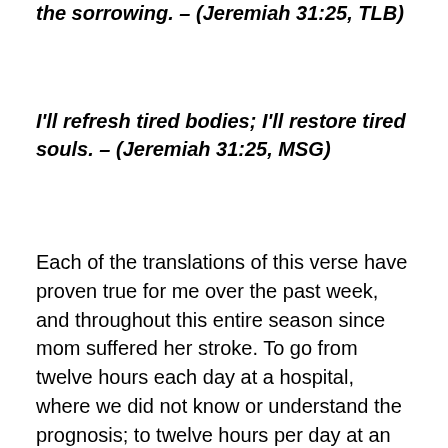the sorrowing. – (Jeremiah 31:25, TLB)
I'll refresh tired bodies; I'll restore tired souls. – (Jeremiah 31:25, MSG)
Each of the translations of this verse have proven true for me over the past week, and throughout this entire season since mom suffered her stroke. To go from twelve hours each day at a hospital, where we did not know or understand the prognosis; to twelve hours per day at an acute care rehabilitation facility, in which we gained insight and understanding, yet had to return home to mom's empty